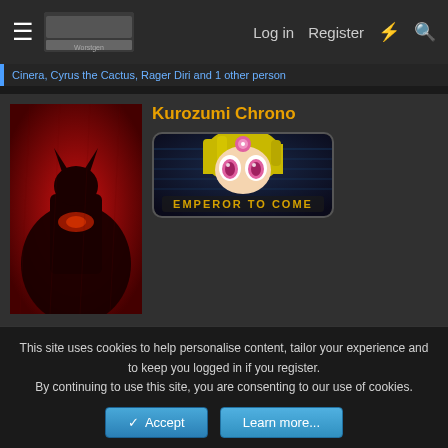Log in   Register
Cinera, Cyrus the Cactus, Rager Diri and 1 other person
[Figure (photo): User avatar: Batman silhouette on red background]
Kurozumi Chrono
[Figure (illustration): Badge image: anime character with green/yellow hair and pink eyes, text reads 'Emperor To Come']
Jun 18, 2020
#5,920
Zoro fans: Zoro will defeat Kaido.
This site uses cookies to help personalise content, tailor your experience and to keep you logged in if you register.
By continuing to use this site, you are consenting to our use of cookies.